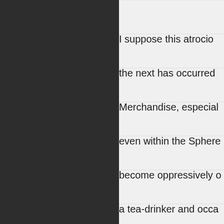I suppose this atrocious the next has occurred Merchandise, especial even within the Sphere become oppressively d a tea-drinker and occa fine buying Black Rifle derided Starbucks as b lukewarm pour-over at Then Starbucks got int business, from all of th One by one by one by scratched off my List o Ralphio, Sir Ralphio th